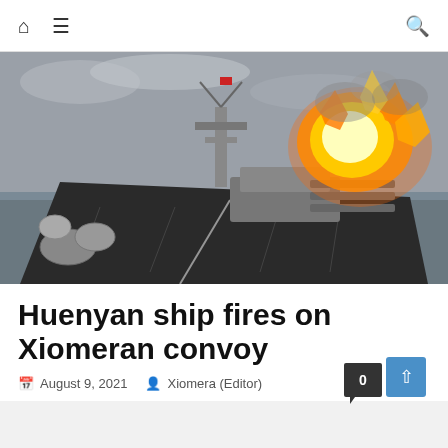Navigation bar with home, menu, and search icons
[Figure (photo): Naval warship firing its guns with a large fireball/explosion visible at the gun muzzles. The photo is taken from the ship's deck looking forward toward the turrets. Black and white tones with vivid orange explosion.]
Huenyan ship fires on Xiomeran convoy
August 9, 2021   Xiomera (Editor)